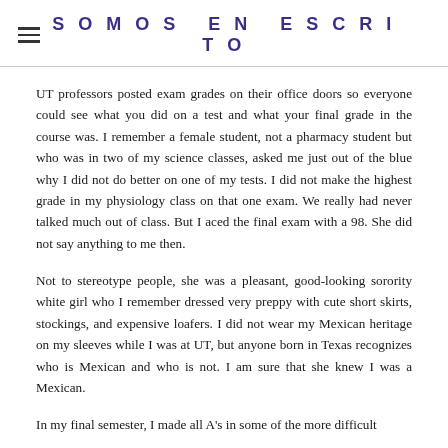SOMOS EN ESCRITO
UT professors posted exam grades on their office doors so everyone could see what you did on a test and what your final grade in the course was. I remember a female student, not a pharmacy student but who was in two of my science classes, asked me just out of the blue why I did not do better on one of my tests. I did not make the highest grade in my physiology class on that one exam. We really had never talked much out of class. But I aced the final exam with a 98. She did not say anything to me then.
Not to stereotype people, she was a pleasant, good-looking sorority white girl who I remember dressed very preppy with cute short skirts, stockings, and expensive loafers. I did not wear my Mexican heritage on my sleeves while I was at UT, but anyone born in Texas recognizes who is Mexican and who is not. I am sure that she knew I was a Mexican.
In my final semester, I made all A's in some of the more difficult